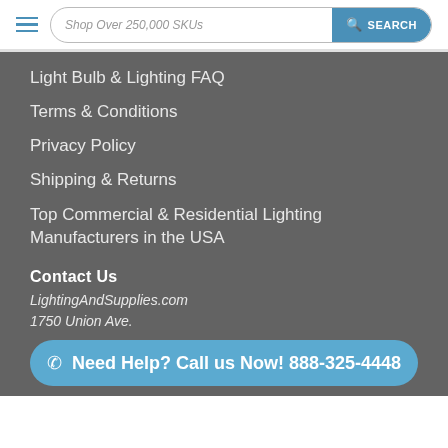Shop Over 250,000 SKUs  SEARCH
Light Bulb & Lighting FAQ
Terms & Conditions
Privacy Policy
Shipping & Returns
Top Commercial & Residential Lighting Manufacturers in the USA
Contact Us
LightingAndSupplies.com
1750 Union Ave.
Rear Unit K
Baltimore MD 21211
Call us at (443) 672-4980 or Email us
Need Help? Call us Now! 888-325-4448